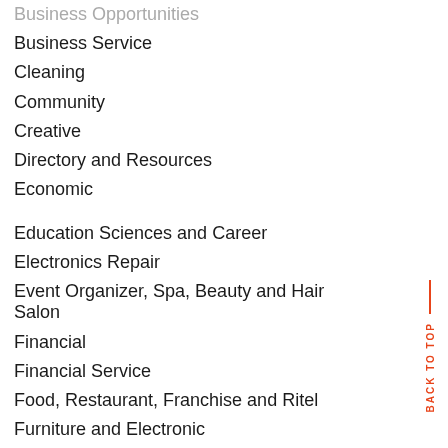Business Opportunities
Business Service
Cleaning
Community
Creative
Directory and Resources
Economic
Education Sciences and Career
Electronics Repair
Event Organizer, Spa, Beauty and Hair Salon
Financial
Financial Service
Food, Restaurant, Franchise and Ritel
Furniture and Electronic
Garment and Laundry
Industries
Informations and Reviews
Insurance